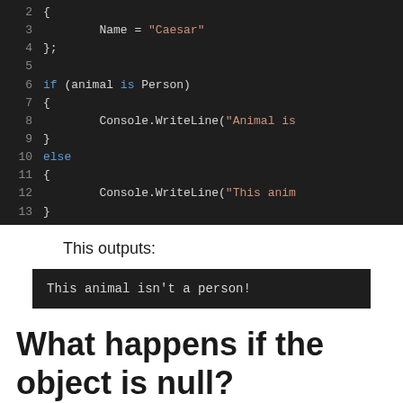[Figure (screenshot): Code editor screenshot showing C# code lines 2-13 with syntax highlighting. Lines show object initialization with Name='Caesar', an if/else block checking 'if (animal is Person)' with Console.WriteLine calls.]
This outputs:
[Figure (screenshot): Terminal output block showing: This animal isn't a person!]
What happens if the object is null?